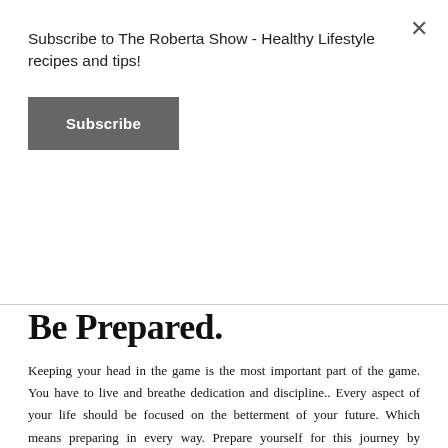Subscribe to The Roberta Show - Healthy Lifestyle recipes and tips!
Subscribe
Be Prepared.
Keeping your head in the game is the most important part of the game. You have to live and breathe dedication and discipline.. Every aspect of your life should be focused on the betterment of your future. Which means preparing in every way. Prepare yourself for this journey by preparing. This is actually simple, it just involves time and perhaps a bit of research. We ALL know i'm HUGE on meal preparation but i'm also crazy strict about my schedule. In the beginning of the week I prepare all of my food and I also arrange my social schedule